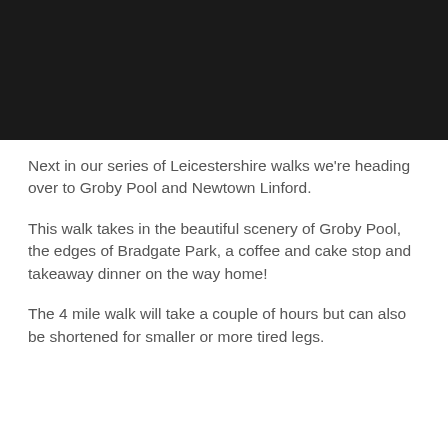[Figure (photo): Dark/black banner image at the top of the page]
Next in our series of Leicestershire walks we're heading over to Groby Pool and Newtown Linford.
This walk takes in the beautiful scenery of Groby Pool, the edges of Bradgate Park, a coffee and cake stop and takeaway dinner on the way home!
The 4 mile walk will take a couple of hours but can also be shortened for smaller or more tired legs.